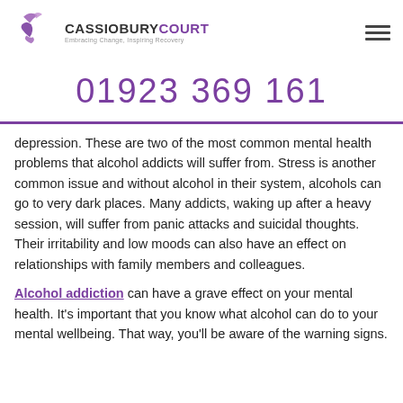CASSIOBURY COURT — Embracing Change, Inspiring Recovery — 01923 369 161
depression. These are two of the most common mental health problems that alcohol addicts will suffer from. Stress is another common issue and without alcohol in their system, alcohols can go to very dark places. Many addicts, waking up after a heavy session, will suffer from panic attacks and suicidal thoughts. Their irritability and low moods can also have an effect on relationships with family members and colleagues.
Alcohol addiction can have a grave effect on your mental health. It's important that you know what alcohol can do to your mental wellbeing. That way, you'll be aware of the warning signs.